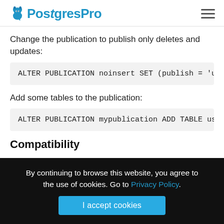PostgresPro
Change the publication to publish only deletes and updates:
ALTER PUBLICATION noinsert SET (publish = 'upda
Add some tables to the publication:
ALTER PUBLICATION mypublication ADD TABLE users
Compatibility
By continuing to browse this website, you agree to the use of cookies. Go to Privacy Policy.